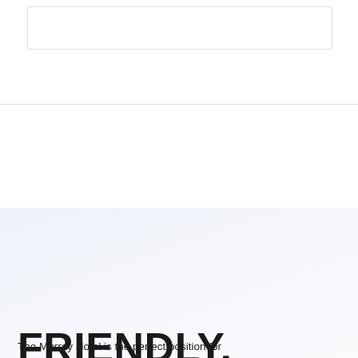[Figure (screenshot): White box element at the top of the page, partial UI screenshot showing a bordered rectangle on white background]
FRIENDLY, WELCOMING

AFFORDABLE
The Murray Hotel is the perfect position for